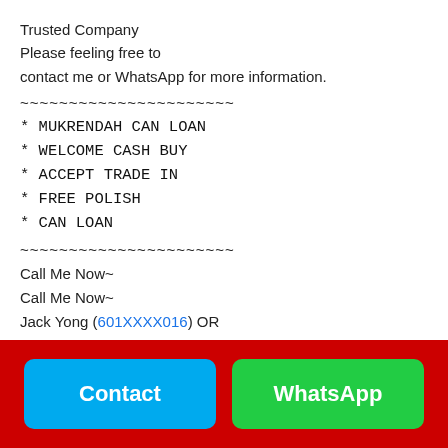Trusted Company
Please feeling free to
contact me or WhatsApp for more information.
~~~~~~~~~~~~~~~~~~~~~~
* MUKRENDAH CAN LOAN
* WELCOME CASH BUY
* ACCEPT TRADE IN
* FREE POLISH
* CAN LOAN
~~~~~~~~~~~~~~~~~~~~~~
Call Me Now~
Call Me Now~
Jack Yong (601XXXX016) OR
https://wa.me/601XXXX0169
~~~~~~~~~~~~~~~~~~~~~~